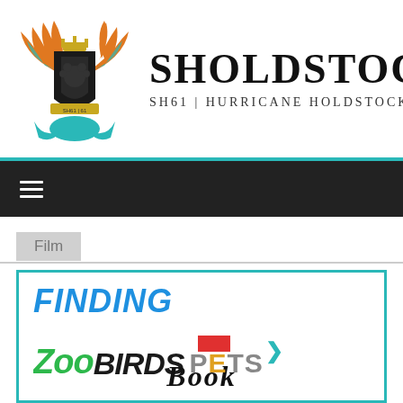[Figure (logo): Sholdstock brand logo: a heraldic crest with teal and orange wings, black shield, crown on top, with text 'SHOLDSTOCK' in large serif bold and 'SH61 | HURRICANE HOLDSTOCK' subtitle]
[Figure (other): Dark navigation bar with hamburger menu icon (three white lines)]
Film
[Figure (illustration): Article card with teal border showing movie logos: 'FINDING' in blue italic bold, then overlapping logos for Zootopia ('Zoo'), The Angry Birds Movie ('Birds'), The Secret Life of Pets ('Pets' with red flag and chevron arrow), and partially visible 'Book' text at the bottom.]